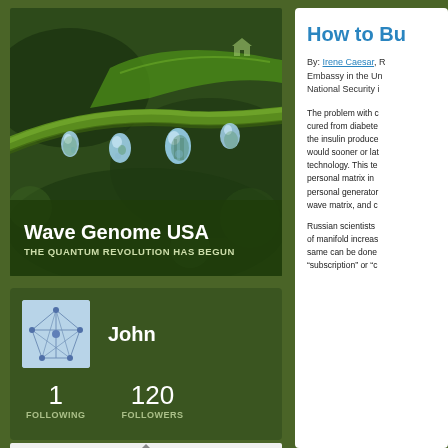[Figure (photo): Close-up photo of green plant stem with water droplets hanging from it against dark green background]
Wave Genome USA
THE QUANTUM REVOLUTION HAS BEGUN
[Figure (illustration): User avatar showing a light blue geometric network/web pattern on square background]
John
1
FOLLOWING
120
FOLLOWERS
How to Bu
By: Irene Caesar, R Embassy in the Un National Security i
The problem with c cured from diabete the insulin produce would sooner or lat technology. This te personal matrix in personal generator wave matrix, and c
Russian scientists of manifold increas same can be done “subscription” or “c